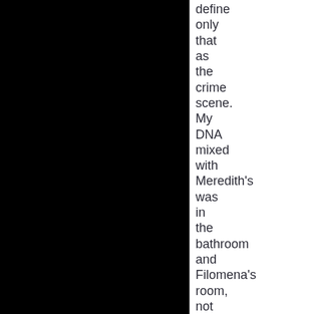define only that as the crime scene. My DNA mixed with Meredith's was in the bathroom and Filomena's room, not Meredith's. Those bloody footprints cleaned